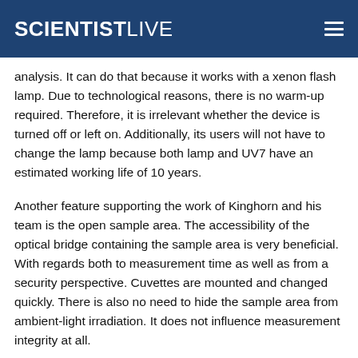SCIENTISTLIVE
analysis. It can do that because it works with a xenon flash lamp. Due to technological reasons, there is no warm-up required. Therefore, it is irrelevant whether the device is turned off or left on. Additionally, its users will not have to change the lamp because both lamp and UV7 have an estimated working life of 10 years.
Another feature supporting the work of Kinghorn and his team is the open sample area. The accessibility of the optical bridge containing the sample area is very beneficial. With regards both to measurement time as well as from a security perspective. Cuvettes are mounted and changed quickly. There is also no need to hide the sample area from ambient-light irradiation. It does not influence measurement integrity at all.
Compliant networking